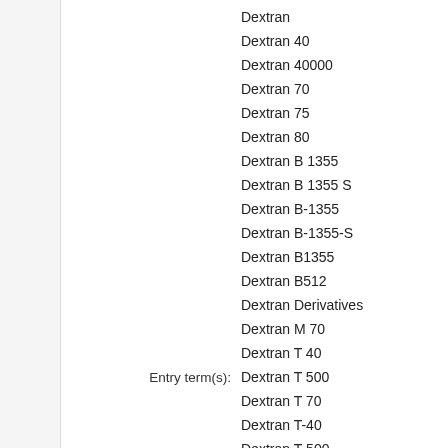Dextran
Dextran 40
Dextran 40000
Dextran 70
Dextran 75
Dextran 80
Dextran B 1355
Dextran B 1355 S
Dextran B-1355
Dextran B-1355-S
Dextran B1355
Dextran B512
Dextran Derivatives
Dextran M 70
Dextran T 40
Entry term(s):
Dextran T 500
Dextran T 70
Dextran T-40
Dextran T-500
Hemodex
Hyskon
Infukoll
Macrodex
Polyglucin
Promit